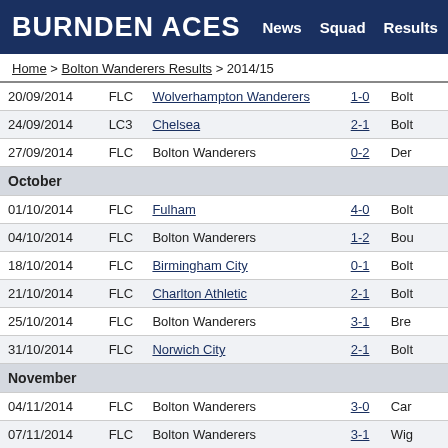BURNDEN ACES  News  Squad  Results  Standings
Home > Bolton Wanderers Results > 2014/15
| Date | Comp | Team | Score | Opponent |
| --- | --- | --- | --- | --- |
| 20/09/2014 | FLC | Wolverhampton Wanderers | 1-0 | Bolt |
| 24/09/2014 | LC3 | Chelsea | 2-1 | Bolt |
| 27/09/2014 | FLC | Bolton Wanderers | 0-2 | Der |
| October |  |  |  |  |
| 01/10/2014 | FLC | Fulham | 4-0 | Bolt |
| 04/10/2014 | FLC | Bolton Wanderers | 1-2 | Bou |
| 18/10/2014 | FLC | Birmingham City | 0-1 | Bolt |
| 21/10/2014 | FLC | Charlton Athletic | 2-1 | Bolt |
| 25/10/2014 | FLC | Bolton Wanderers | 3-1 | Bre |
| 31/10/2014 | FLC | Norwich City | 2-1 | Bolt |
| November |  |  |  |  |
| 04/11/2014 | FLC | Bolton Wanderers | 3-0 | Car |
| 07/11/2014 | FLC | Bolton Wanderers | 3-1 | Wig |
| 22/11/2014 | FLC | Blackpool | 1-1 | Bolt |
| 29/11/2014 | FLC | Bolton Wanderers | 1-0 | Hud |